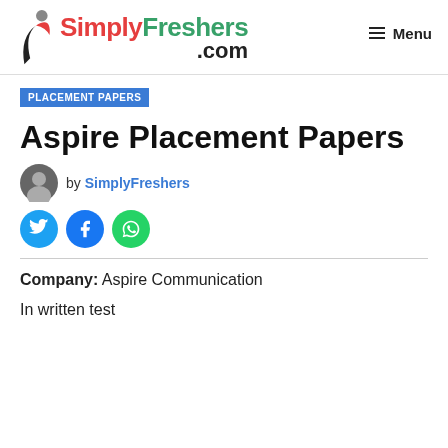SimplyFreshers.com — Menu
PLACEMENT PAPERS
Aspire Placement Papers
by SimplyFreshers
[Figure (illustration): Social share buttons: Twitter, Facebook, WhatsApp]
Company: Aspire Communication
In written test